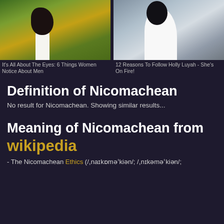[Figure (photo): Two advertisement images side by side. Left: person in white top viewed from behind in nature/forest setting. Right: woman in white outfit posing on driftwood at beach.]
It's All About The Eyes: 6 Things Women Notice About Men
12 Reasons To Follow Holly Luyah - She's On Fire!
Brainberries
Herbeauty
Definition of Nicomachean
No result for Nicomachean. Showing similar results...
Meaning of Nicomachean from wikipedia
- The Nicomachean Ethics (/ˌnaɪkɒməˈkiən/; /ˌnɪkəməˈkiən/;